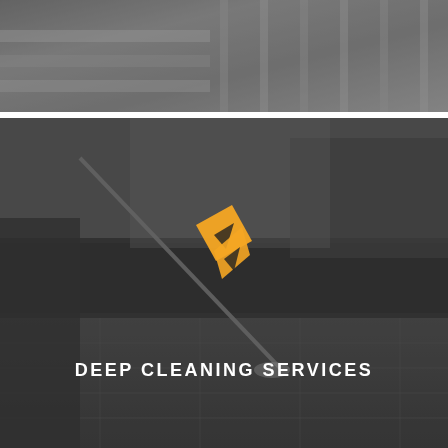[Figure (photo): Grayscale photograph of a construction scene showing wooden planks and lumber being carried or moved, dark and light grey tones.]
[Figure (photo): Grayscale photograph of a person using a pressure washer lance on a tiled outdoor surface, with hedges and stacked firewood in the background. An orange diamond/arrow logo icon is overlaid in the center-bottom area. White uppercase text reads DEEP CLEANING SERVICES.]